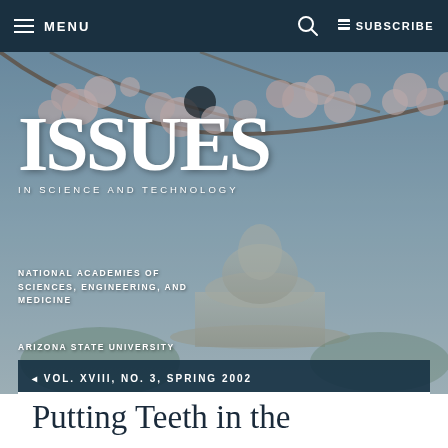MENU   🔍   SUBSCRIBE
[Figure (photo): Cherry blossoms in bloom over a blurred background showing a domed building (Jefferson Memorial), with the ISSUES in Science and Technology magazine logo overlaid in white serif font]
ISSUES IN SCIENCE AND TECHNOLOGY
NATIONAL ACADEMIES OF SCIENCES, ENGINEERING, AND MEDICINE
ARIZONA STATE UNIVERSITY
◄ VOL. XVIII, NO. 3, SPRING 2002
Putting Teeth in the